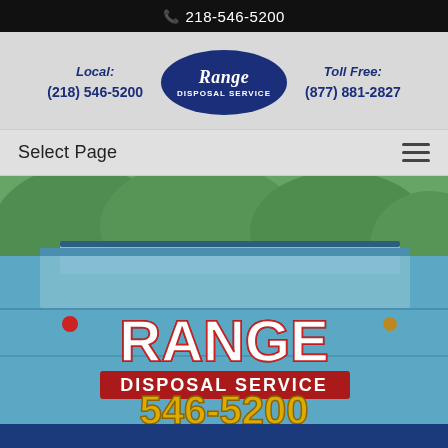218-546-5200
[Figure (logo): Range Disposal Service oval logo with white italic text on dark blue background]
Local: (218) 546-5200
Toll Free: (877) 881-2827
Select Page
[Figure (photo): Photo of a blue Range Disposal Service truck with 'RANGE DISPOSAL SERVICE 546-5200' lettering on the side, trees visible in background]